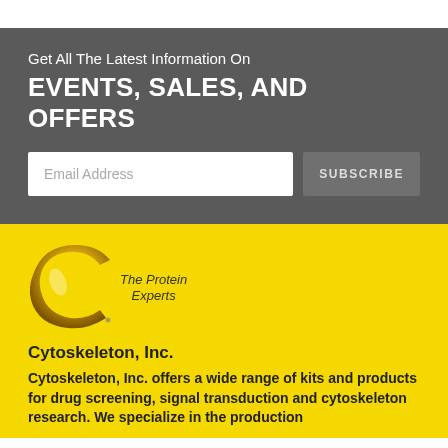Get All The Latest Information On
EVENTS, SALES, AND OFFERS
[Figure (logo): Email subscription form with text input labeled 'Email Address' and a 'SUBSCRIBE' button]
[Figure (logo): Cytoskeleton Inc. logo: a golden/metallic letter C with 'The Protein Experts' text beside it]
Cytoskeleton, Inc.
Cytoskeleton, Inc. offers a wide range of kits and products for drug screening, signal transduction and cytoskeleton research. We specialize in the production